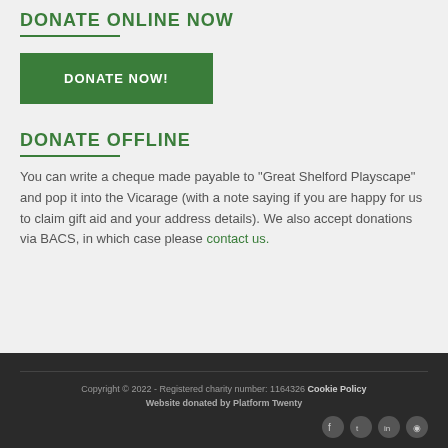DONATE ONLINE NOW
[Figure (other): Green 'DONATE NOW!' button]
DONATE OFFLINE
You can write a cheque made payable to "Great Shelford Playscape" and pop it into the Vicarage (with a note saying if you are happy for us to claim gift aid and your address details). We also accept donations via BACS, in which case please contact us.
Copyright © 2022 - Registered charity number: 1164326 Cookie Policy Website donated by Platform Twenty